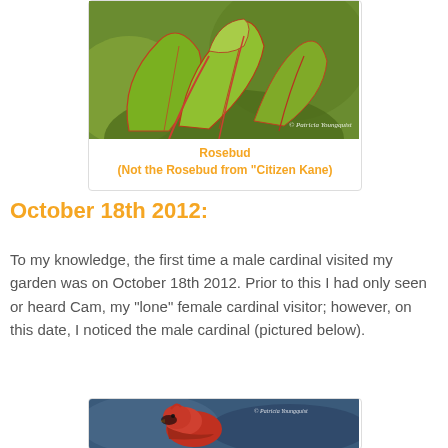[Figure (photo): Close-up photograph of rose leaves/rosebud with green and reddish leaves against a blurred background. Watermark reads '© Patricia Youngquist'.]
Rosebud
(Not the Rosebud from "Citizen Kane)
October 18th 2012:
To my knowledge, the first time a male cardinal visited my garden was on October 18th 2012. Prior to this I had only seen or heard Cam, my "lone" female cardinal visitor; however, on this date, I noticed the male cardinal (pictured below).
[Figure (photo): Photograph of a male cardinal bird, showing red plumage, against a blurred blue background. Watermark reads '© Patricia Youngquist'.]